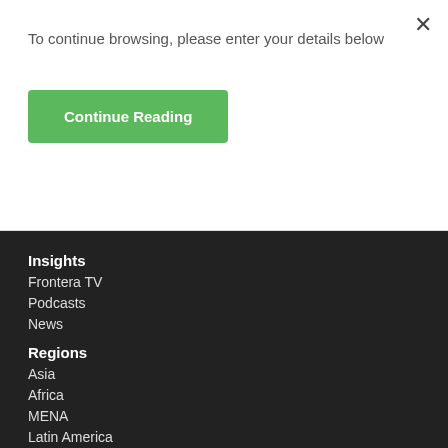To continue browsing, please enter your details below
Continue Reading
Insights
Frontera TV
Podcasts
News
Regions
Asia
Africa
MENA
Latin America
Europe & CIS
Research Type
Cryptocurrency
Emerging Market ETFs
Emerging Market REITs